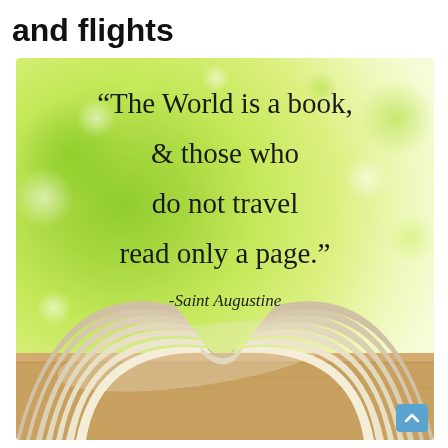and flights
[Figure (illustration): Inspirational quote image with a green bokeh background and an open book at the bottom. Text reads: "The World is a book, & those who do not travel read only a page." -Saint Augustine]